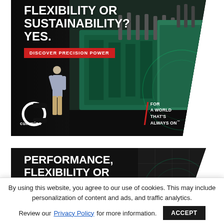[Figure (photo): Cummins advertisement banner showing industrial generator/engine with a person standing beside it. White bold text reads 'PERFORMANCE, FLEXIBILITY OR SUSTAINABILITY? YES.' with a red 'DISCOVER PRECISION POWER' button and Cummins logo with 'FOR A WORLD THAT'S ALWAYS ON' tagline.]
[Figure (photo): Second Cummins advertisement banner showing dark background with white bold text reading 'PERFORMANCE, FLEXIBILITY OR SUSTAINABILITY? YES.' partially visible.]
By using this website, you agree to our use of cookies. This may include personalization of content and ads, and traffic analytics.
Review our Privacy Policy for more information.